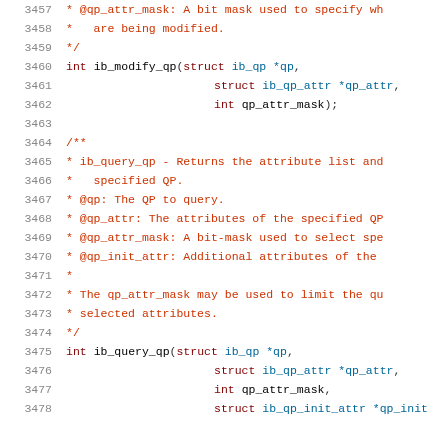Source code listing showing ib_modify_qp and ib_query_qp function declarations with Doxygen comments, lines 3457-3478
[Figure (screenshot): Code editor view showing C source code with line numbers 3457-3478, featuring function declarations and Doxygen-style comments]